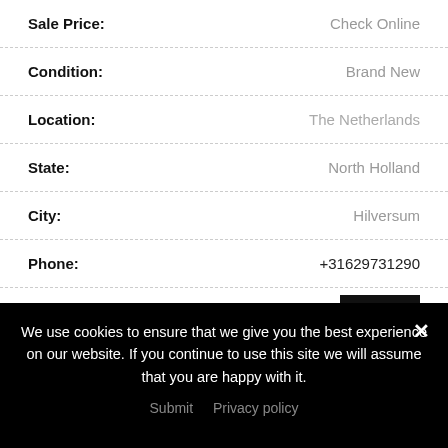| Field | Value |
| --- | --- |
| Sale Price: | Check Online |
| Condition: | Brand New |
| Location: | The Netherlands |
| State: | North Holland |
| City: | Hilversum |
| Phone: | +31629731290 |
| Views: | 647 |
| Website: | Www.MyDesi-Shop.Com |
We use cookies to ensure that we give you the best experience on our website. If you continue to use this site we will assume that you are happy with it.
Submit  Privacy policy